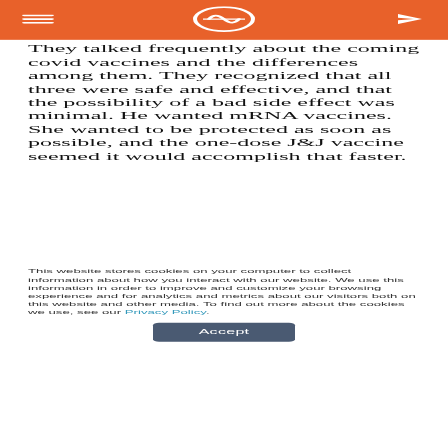≡  [logo]  ➤
They talked frequently about the coming covid vaccines and the differences among them. They recognized that all three were safe and effective, and that the possibility of a bad side effect was minimal. He wanted mRNA vaccines. She wanted to be protected as soon as possible, and the one-dose J&J vaccine seemed it would accomplish that faster.
This website stores cookies on your computer to collect information about how you interact with our website. We use this information in order to improve and customize your browsing experience and for analytics and metrics about our visitors both on this website and other media. To find out more about the cookies we use, see our Privacy Policy.
Accept